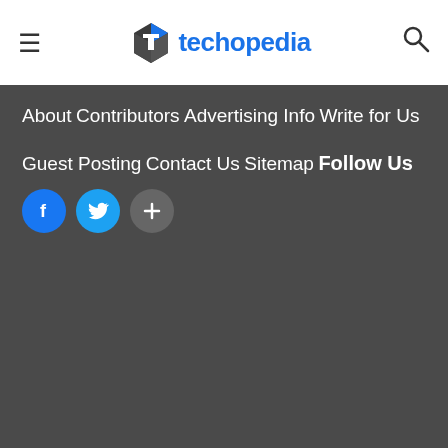techopedia
About
Contributors
Advertising Info
Write for Us
Guest Posting
Contact Us
Sitemap
Follow Us
[Figure (illustration): Three social media icon circles: Facebook (blue with f), Twitter/X (light blue with bird), and a dark circle with plus/link icon]